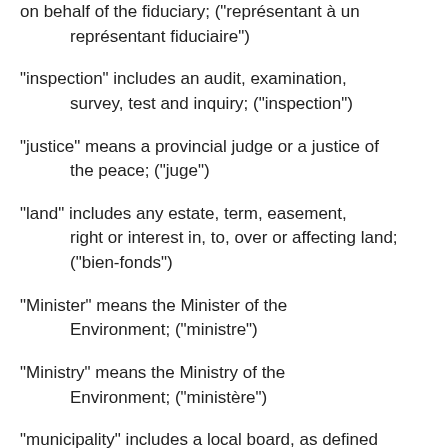on behalf of the fiduciary; ("représentant à un représentant fiduciaire")
"inspection" includes an audit, examination, survey, test and inquiry; ("inspection")
"justice" means a provincial judge or a justice of the peace; ("juge")
"land" includes any estate, term, easement, right or interest in, to, over or affecting land; ("bien-fonds")
"Minister" means the Minister of the Environment; ("ministre")
"Ministry" means the Ministry of the Environment; ("ministère")
"municipality" includes a local board, as defined